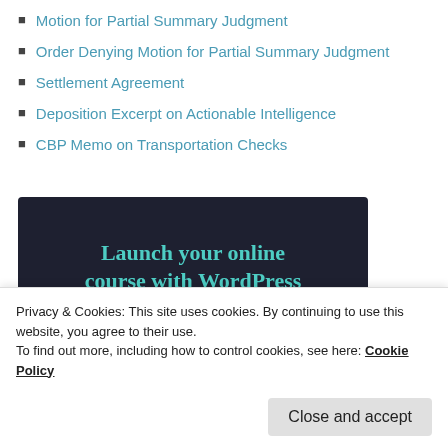Motion for Partial Summary Judgment
Order Denying Motion for Partial Summary Judgment
Settlement Agreement
Deposition Excerpt on Actionable Intelligence
CBP Memo on Transportation Checks
[Figure (other): Advertisement banner with dark background. Text reads: 'Launch your online course with WordPress' with a 'Learn More' button in teal/green color.]
Privacy & Cookies: This site uses cookies. By continuing to use this website, you agree to their use.
To find out more, including how to control cookies, see here: Cookie Policy